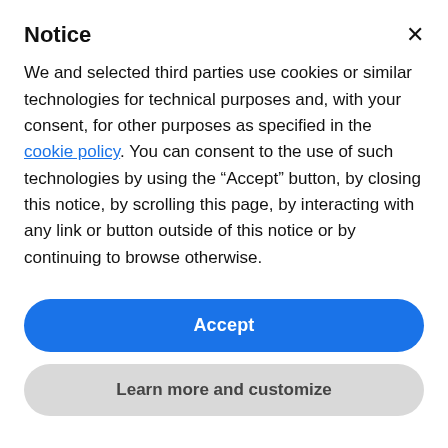Notice
We and selected third parties use cookies or similar technologies for technical purposes and, with your consent, for other purposes as specified in the cookie policy. You can consent to the use of such technologies by using the “Accept” button, by closing this notice, by scrolling this page, by interacting with any link or button outside of this notice or by continuing to browse otherwise.
Accept
Learn more and customize
The Noise Factor
An electric air filter works by moving air past the filters, and of course only the air that